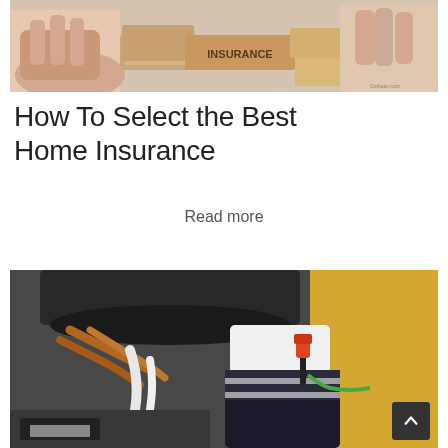[Figure (photo): Hands stacking wooden blocks with the word INSURANCE printed on one of the blocks]
How To Select the Best Home Insurance
Read more
[Figure (photo): A technician using a screwdriver to work on a furnace or HVAC unit, with copper pipes and white tubing visible]